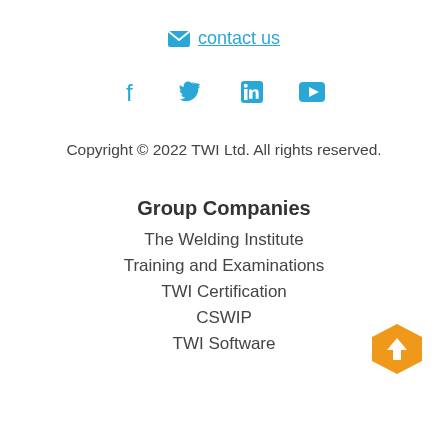contact us
[Figure (other): Social media icons: Facebook, Twitter, LinkedIn, YouTube]
Copyright © 2022 TWI Ltd. All rights reserved.
Group Companies
The Welding Institute
Training and Examinations
TWI Certification
CSWIP
TWI Software